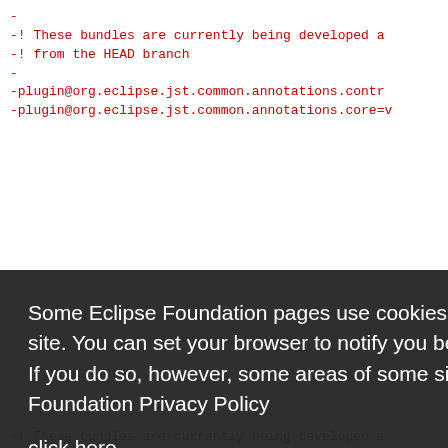Code listing showing Eclipse bundle plugin references in red and blue monospace text
Some Eclipse Foundation pages use cookies to better serve you when you return to the site. You can set your browser to notify you before you receive a cookie or turn off cookies. If you do so, however, some areas of some sites may not function properly. To read Eclipse Foundation Privacy Policy click here.
Decline | Allow cookies
-! These bundles are currently being developed a